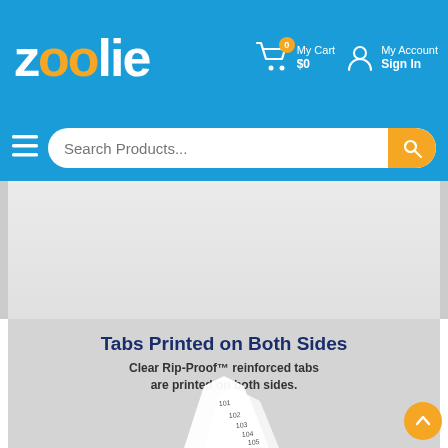zoolie - My Cart $0 - My Account Sign In
[Figure (screenshot): Zoolie e-commerce website header with logo, cart showing $0, My Account/Sign In, and a search bar reading 'Search Products...']
[Figure (photo): Gray product image area partially visible at top]
Tabs Printed on Both Sides
Clear Rip-Proof™ reinforced tabs are printed on both sides.
[Figure (photo): White tab dividers with numbers 101, 102, 103, 104, 105 printed on them, shown against gray background]